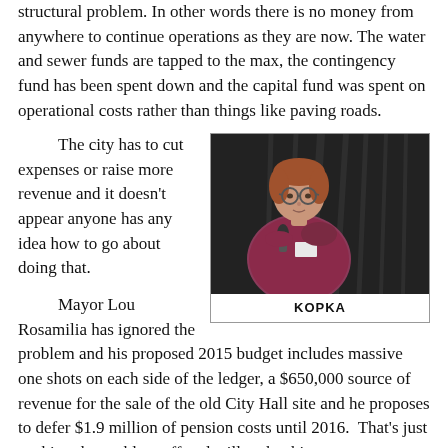structural problem. In other words there is no money from anywhere to continue operations as they are now. The water and sewer funds are tapped to the max, the contingency fund has been spent down and the capital fund was spent on operational costs rather than things like paving roads.
The city has to cut expenses or raise more revenue and it doesn't appear anyone has any idea how to go about doing that.
[Figure (photo): Woman with glasses and red outfit speaking at a microphone at a public meeting]
KOPKA
Mayor Lou Rosamilia has ignored the problem and his proposed 2015 budget includes massive one shots on each side of the ledger, a $650,000 source of revenue for the sale of the old City Hall site and he proposes to defer $1.9 million of pension costs until 2016. That's just pushing the problem off and will make things worse.
Council President Rodney Wiltshire, appearing on Talk1300, said Trojans can expect a tax hike. That's pretty much a given at this point in time but the revenue generated could be offset by